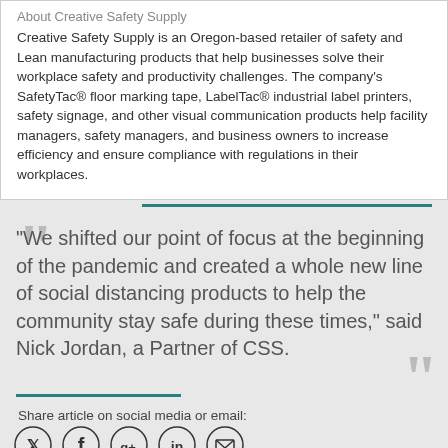About Creative Safety Supply
Creative Safety Supply is an Oregon-based retailer of safety and Lean manufacturing products that help businesses solve their workplace safety and productivity challenges. The company's SafetyTac® floor marking tape, LabelTac® industrial label printers, safety signage, and other visual communication products help facility managers, safety managers, and business owners to increase efficiency and ensure compliance with regulations in their workplaces.
"We shifted our point of focus at the beginning of the pandemic and created a whole new line of social distancing products to help the community stay safe during these times," said Nick Jordan, a Partner of CSS.
Share article on social media or email:
[Figure (infographic): Social media share icons: Twitter, Facebook, Google+, LinkedIn, Email]